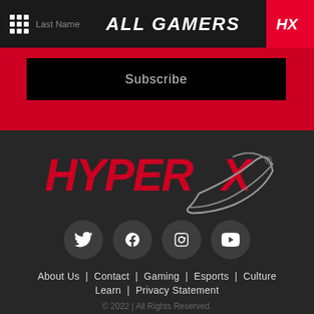ALL GAMERS
Subscribe
[Figure (logo): HyperX logo in red with silver X swoosh mark]
[Figure (infographic): Social media icons: Twitter, Facebook, Instagram, YouTube]
About Us  Contact  Gaming  Esports  Culture  Learn  Privacy Statement
© 2022 | All Rights Reserved.